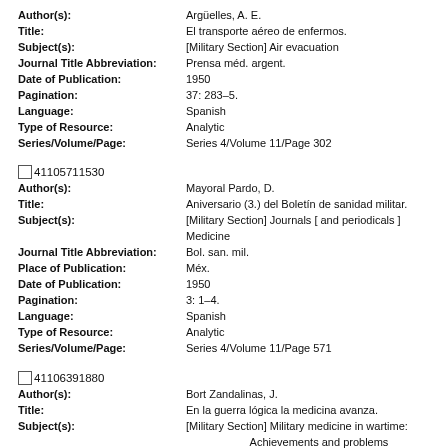Author(s): Argüelles, A. E.
Title: El transporte aéreo de enfermos.
Subject(s): [Military Section] Air evacuation
Journal Title Abbreviation: Prensa méd. argent.
Date of Publication: 1950
Pagination: 37: 283–5.
Language: Spanish
Type of Resource: Analytic
Series/Volume/Page: Series 4/Volume 11/Page 302
41105711530
Author(s): Mayoral Pardo, D.
Title: Aniversario (3.) del Boletín de sanidad militar.
Subject(s): [Military Section] Journals [ and periodicals ] Medicine
Journal Title Abbreviation: Bol. san. mil.
Place of Publication: Méx.
Date of Publication: 1950
Pagination: 3: 1–4.
Language: Spanish
Type of Resource: Analytic
Series/Volume/Page: Series 4/Volume 11/Page 571
41106391880
Author(s): Bort Zandalinas, J.
Title: En la guerra lógica la medicina avanza.
Subject(s): [Military Section] Military medicine in wartime: Achievements and problems
Journal Title Abbreviation: Rev. pract.
Place of Publication: Valencia
Date of Publication: 1950